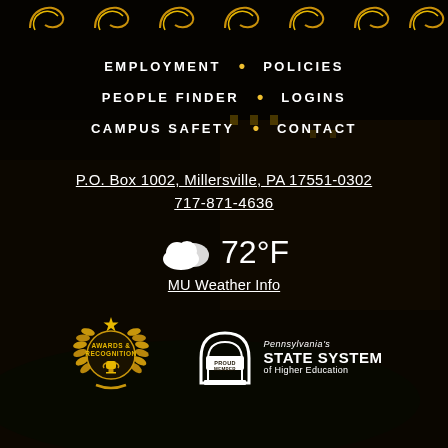[Figure (illustration): Dark nighttime campus building photo with golden decorative swirl/wave pattern along the top edge]
EMPLOYMENT • POLICIES
PEOPLE FINDER • LOGINS
CAMPUS SAFETY • CONTACT
P.O. Box 1002, Millersville, PA 17551-0302
717-871-4636
72°F
MU Weather Info
[Figure (logo): Awards & Recognition badge with gold laurel wreath and trophy]
[Figure (logo): Pennsylvania's State System of Higher Education - Proud Member logo]